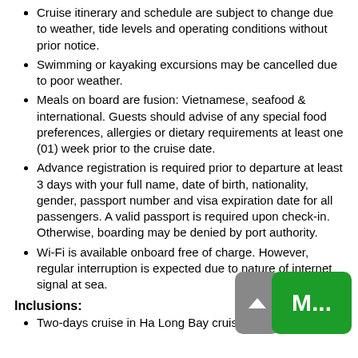Cruise itinerary and schedule are subject to change due to weather, tide levels and operating conditions without prior notice.
Swimming or kayaking excursions may be cancelled due to poor weather.
Meals on board are fusion: Vietnamese, seafood & international. Guests should advise of any special food preferences, allergies or dietary requirements at least one (01) week prior to the cruise date.
Advance registration is required prior to departure at least 3 days with your full name, date of birth, nationality, gender, passport number and visa expiration date for all passengers. A valid passport is required upon check-in. Otherwise, boarding may be denied by port authority.
Wi-Fi is available onboard free of charge. However, regular interruption is expected due to nature of internet signal at sea.
Inclusions:
Two-days cruise in Ha Long Bay cruise.